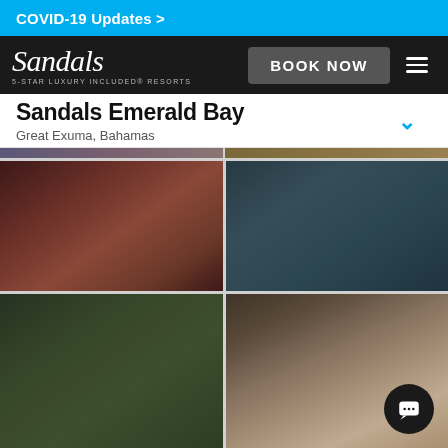COVID-19 Updates >
Sandals — 5-STAR LUXURY INCLUDED RESORTS | BOOK NOW
Sandals Emerald Bay
Great Exuma, Bahamas
[Figure (photo): Four-panel photo grid showing resort images from Sandals Emerald Bay: top-left shows a warm brownish-red interior, top-right shows a dark teal/blue exterior, bottom-left shows a dark green landscape, bottom-right shows a sandy/tan beach or room view with a chat support button overlay.]